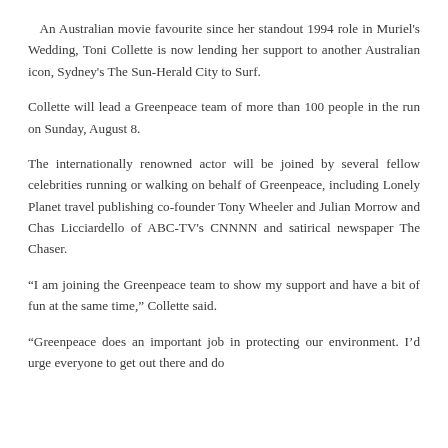An Australian movie favourite since her standout 1994 role in Muriel's Wedding, Toni Collette is now lending her support to another Australian icon, Sydney's The Sun-Herald City to Surf.
Collette will lead a Greenpeace team of more than 100 people in the run on Sunday, August 8.
The internationally renowned actor will be joined by several fellow celebrities running or walking on behalf of Greenpeace, including Lonely Planet travel publishing co-founder Tony Wheeler and Julian Morrow and Chas Licciardello of ABC-TV's CNNNN and satirical newspaper The Chaser.
“I am joining the Greenpeace team to show my support and have a bit of fun at the same time,” Collette said.
“Greenpeace does an important job in protecting our environment. I’d urge everyone to get out there and do